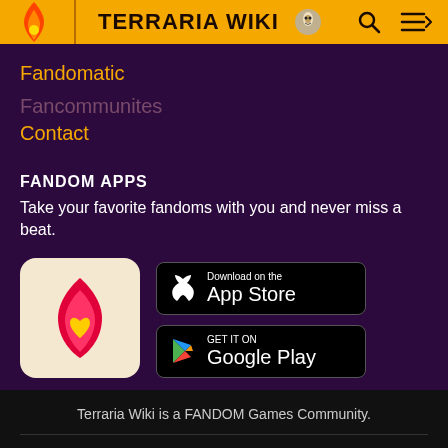TERRARIA WIKI
Fandomatic
Contact
FANDOM APPS
Take your favorite fandoms with you and never miss a beat.
[Figure (logo): Fandom app icon with flame and heart on light background]
[Figure (logo): Download on the App Store button]
[Figure (logo): Get it on Google Play button]
Terraria Wiki is a FANDOM Games Community.
VIEW FULL SITE